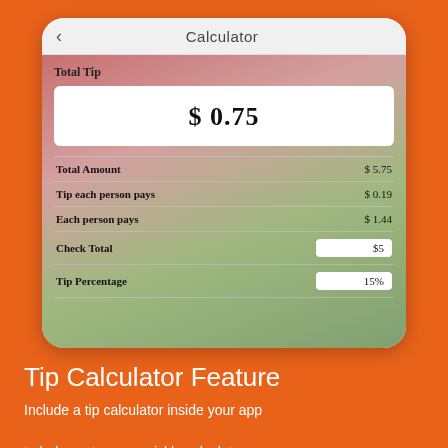[Figure (screenshot): Mobile app screenshot showing a tip calculator interface with 'Calculator' title bar, Total Tip display of $0.75, and rows for Total Amount ($5.75), Tip each person pays ($0.19), Each person pays ($1.44), Check Total ($5), and Tip Percentage (15%)]
Tip Calculator Feature
Include a tip calculator inside your app to help customers quickly calculate a tip amount for a dinner party.